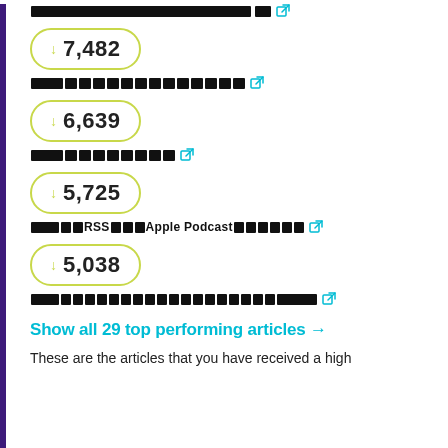[redacted text] [external link]
↓ 7,482
[redacted text] [external link]
↓ 6,639
[redacted text] [external link]
↓ 5,725
[redacted]RSS[redacted]Apple Podcast[redacted] [external link]
↓ 5,038
[redacted text] [external link]
Show all 29 top performing articles →
These are the articles that you have received a high